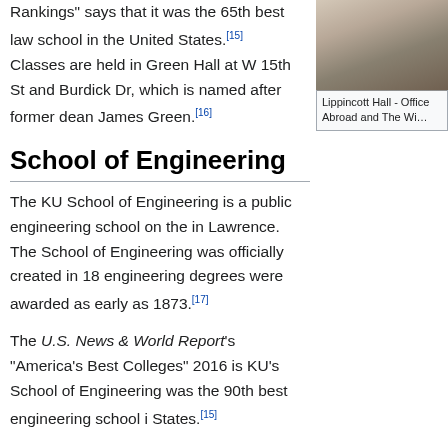Rankings" says that it was the 65th best law school in the United States.[15] Classes are held in Green Hall at W 15th St and Burdick Dr, which is named after former dean James Green.[16]
[Figure (photo): Statue in front of a building, partially visible on the right side of the page (cropped)]
Lippincott Hall - Offi... Abroad and The Wi...
School of Engineering
The KU School of Engineering is a public engineering school on the... in Lawrence. The School of Engineering was officially created in 18... engineering degrees were awarded as early as 1873.[17]
The U.S. News & World Report's "America's Best Colleges" 2016 is... KU's School of Engineering was the 90th best engineering school i... States.[15]
Famous alumni include: Alan Mulally (BS/MS), former President an... Motor Company, Lou Montulli, co-founder of Netscape and author o... browser, Brian McClendon (BSEE 1986), VP of Engineering at Goo... E. Spahr (1934), former CEO of Standard Oil of Ohio.